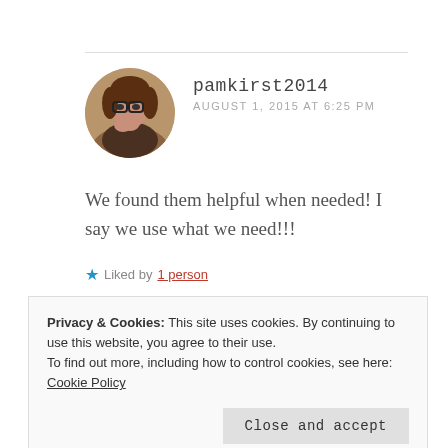[Figure (photo): Circular avatar photo of a woman with glasses, brown hair, resting chin on hand]
pamkirst2014
AUGUST 1, 2015 AT 6:25 PM
We found them helpful when needed! I say we use what we need!!!
★ Liked by 1 person
[Figure (photo): Partially visible circular avatar with yellow/gold color]
Privacy & Cookies: This site uses cookies. By continuing to use this website, you agree to their use.
To find out more, including how to control cookies, see here: Cookie Policy
Close and accept